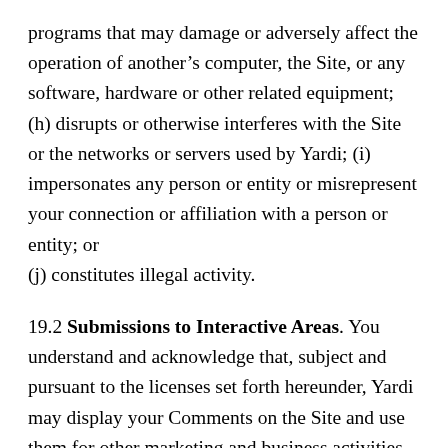programs that may damage or adversely affect the operation of another’s computer, the Site, or any software, hardware or other related equipment; (h) disrupts or otherwise interferes with the Site or the networks or servers used by Yardi; (i) impersonates any person or entity or misrepresent your connection or affiliation with a person or entity; or (j) constitutes illegal activity.
19.2 Submissions to Interactive Areas. You understand and acknowledge that, subject and pursuant to the licenses set forth hereunder, Yardi may display your Comments on the Site and use them for other marketing and business activities. In